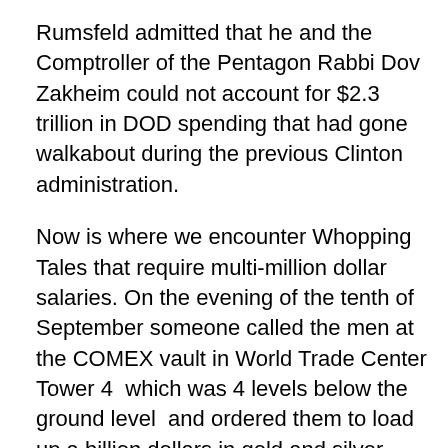Rumsfeld admitted that he and the Comptroller of the Pentagon Rabbi Dov Zakheim could not account for $2.3 trillion in DOD spending that had gone walkabout during the previous Clinton administration.
Now is where we encounter Whopping Tales that require multi-million dollar salaries. On the evening of the tenth of September someone called the men at the COMEX vault in World Trade Center Tower 4  which was 4 levels below the ground level  and ordered them to load up a billion dollars in gold and silver onto trucks to move them out. Now the sheeple would be quite disturbed if they knew the boss was blowing up buildings with Americans locked inside. So this is what you must believe or rather say with a straight face: The men and women in Washington DC who run this country are above reproach so if they had to have a knowledge of 911 they would not have done...